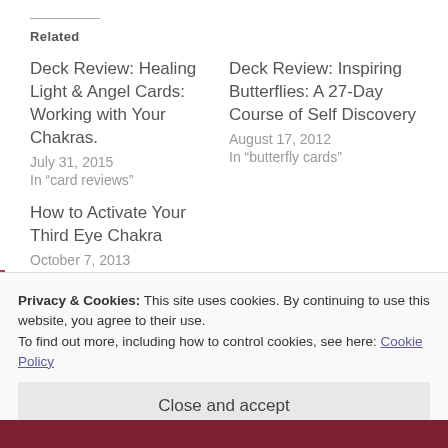Related
Deck Review: Healing Light & Angel Cards: Working with Your Chakras.
July 31, 2015
In "card reviews"
Deck Review: Inspiring Butterflies: A 27-Day Course of Self Discovery
August 17, 2012
In "butterfly cards"
How to Activate Your Third Eye Chakra
October 7, 2013
In "charging crystals"
Privacy & Cookies: This site uses cookies. By continuing to use this website, you agree to their use.
To find out more, including how to control cookies, see here: Cookie Policy
Close and accept